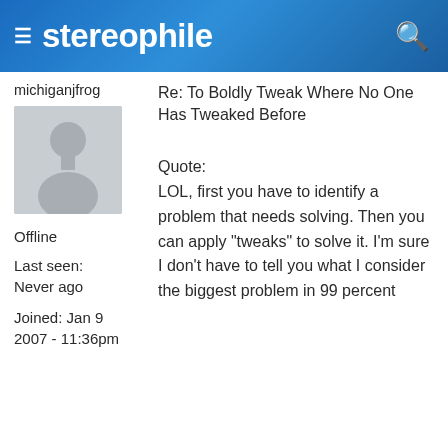≡ stereophile 🔍
michiganjfrog
Re: To Boldly Tweak Where No One Has Tweaked Before
[Figure (illustration): Default user avatar silhouette on grey background]
Offline
Last seen:
Never ago
Joined: Jan 9 2007 - 11:36pm
Quote:
LOL, first you have to identify a problem that needs solving. Then you can apply "tweaks" to solve it. I'm sure I don't have to tell you what I consider the biggest problem in 99 percent